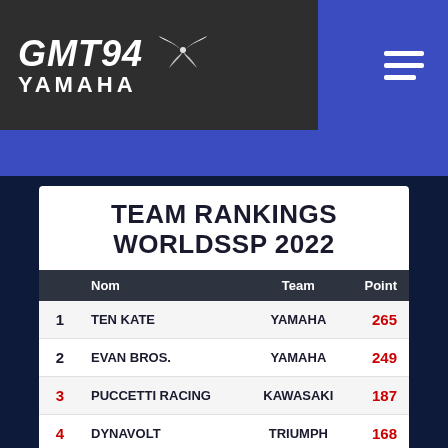[Figure (logo): GMT94 Yamaha team logo with bird/falcon icon on dark grey background, hamburger menu icon on blue background]
TEAM RANKINGS
WORLDSSP 2022
|  | Nom | Team | Point |
| --- | --- | --- | --- |
| 1 | Ten Kate | YAMAHA | 265 |
| 2 | Evan Bros. | YAMAHA | 249 |
| 3 | PUCCETTI RACING | KAWASAKI | 187 |
| 4 | DYNAVOLT | TRIUMPH | 168 |
| 5 | ARUBA | DUCATI | 147 |
| 6 | MV AGUSTA CORSE | MV AGUSTA | 117 |